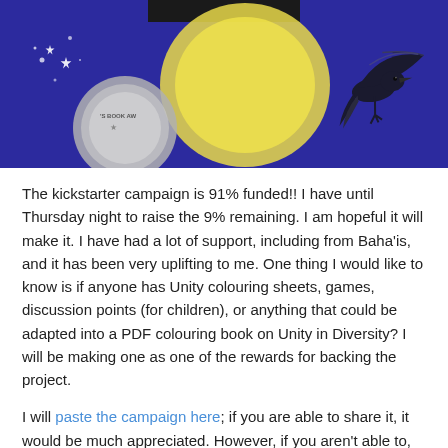[Figure (illustration): Book cover illustration on a purple/blue background showing a yellow moon, a black bird (crow/raven) in flight, sparkles, and a silver medallion/award seal partially visible on the left. A dark rectangular banner is at the top center.]
The kickstarter campaign is 91% funded!! I have until Thursday night to raise the 9% remaining. I am hopeful it will make it. I have had a lot of support, including from Baha'is, and it has been very uplifting to me. One thing I would like to know is if anyone has Unity colouring sheets, games, discussion points (for children), or anything that could be adapted into a PDF colouring book on Unity in Diversity? I will be making one as one of the rewards for backing the project.
I will paste the campaign here; if you are able to share it, it would be much appreciated. However, if you aren't able to, please don't worry about it.
Thank you for your support!